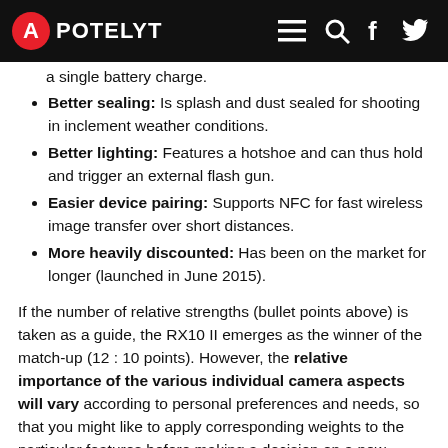APOTELYT
a single battery charge.
Better sealing: Is splash and dust sealed for shooting in inclement weather conditions.
Better lighting: Features a hotshoe and can thus hold and trigger an external flash gun.
Easier device pairing: Supports NFC for fast wireless image transfer over short distances.
More heavily discounted: Has been on the market for longer (launched in June 2015).
If the number of relative strengths (bullet points above) is taken as a guide, the RX10 II emerges as the winner of the match-up (12 : 10 points). However, the relative importance of the various individual camera aspects will vary according to personal preferences and needs, so that you might like to apply corresponding weights to the particular features before making a decision on a new camera. A professional wedding photographer will view the differences between cameras in a way that diverges from